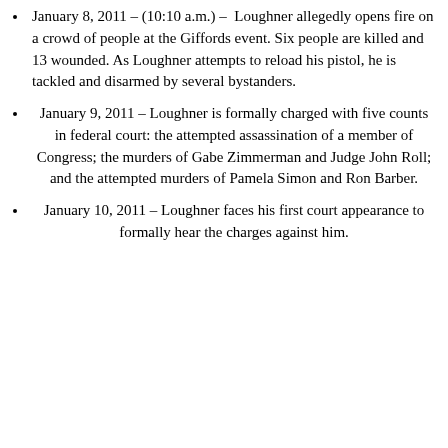January 8, 2011 – (10:10 a.m.) – Loughner allegedly opens fire on a crowd of people at the Giffords event. Six people are killed and 13 wounded. As Loughner attempts to reload his pistol, he is tackled and disarmed by several bystanders.
January 9, 2011 – Loughner is formally charged with five counts in federal court: the attempted assassination of a member of Congress; the murders of Gabe Zimmerman and Judge John Roll; and the attempted murders of Pamela Simon and Ron Barber.
January 10, 2011 – Loughner faces his first court appearance to formally hear the charges against him.